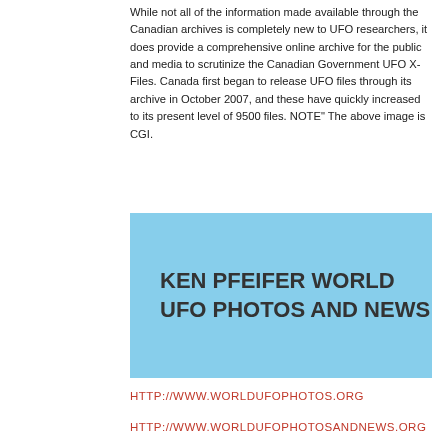While not all of the information made available through the Canadian archives is completely new to UFO researchers, it does provide a comprehensive online archive for the public and media to scrutinize the Canadian Government UFO X-Files. Canada first began to release UFO files through its archive in October 2007, and these have quickly increased to its present level of 9500 files. NOTE" The above image is CGI.
[Figure (other): Light blue banner box with bold text reading KEN PFEIFER WORLD UFO PHOTOS AND NEWS]
HTTP://WWW.WORLDUFOPHOTOS.ORG
HTTP://WWW.WORLDUFOPHOTOSANDNEWS.ORG